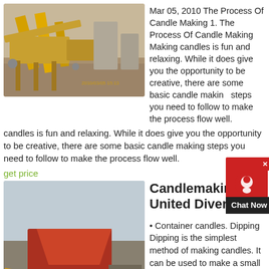[Figure (photo): Industrial mining/crushing equipment with yellow conveyor structures and gravel ground, outdoor setting]
Mar 05, 2010 The Process Of Candle Making 1. The Process Of Candle Making Making candles is fun and relaxing. While it does give you the opportunity to be creative, there are some basic candle making steps you need to follow to make the process flow well.
get price
[Figure (photo): Industrial sand washing or aggregate processing machinery with red and yellow equipment, blue wheel, outdoor construction site]
Candlemaking United Diversity
• Container candles. Dipping Dipping is the simplest method of making candles. It can be used to make a small number of candles by hand, with very simple equipment, or as a production process for manufacturing large numbers of candles in a variety of sizes and colors. Method Heat the wax in the dipping...